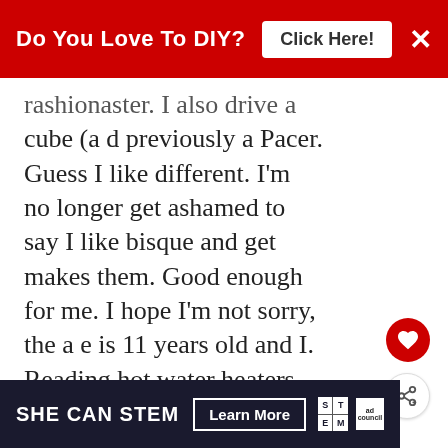Do You Love To DIY? Click Here!
rashionaster. I also drive a cube (a d previously a Pacer. Guess I like different. I'm no longer get ashamed to say I like bisque and get makes them. Good enough for me. I hope I'm not sorry, the a e is 11 years old and I. Reading hot water heaters last 10 years. Carp.
DELETE
WHAT'S NEXT → Easy Recipe ~ Super Quick...
Kim
SHE CAN STEM Learn More